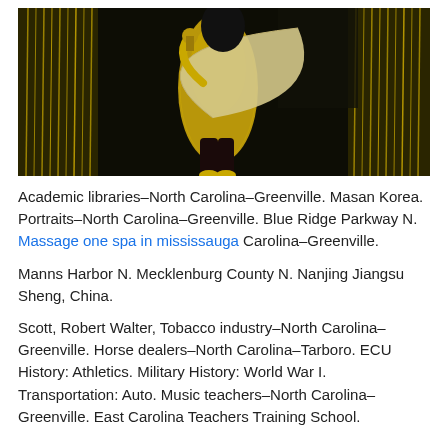[Figure (photo): A performer on stage wearing a gold sequined outfit with a large pale gold fan-shaped prop, performing against a dark background with gold tinsel curtain.]
Academic libraries–North Carolina–Greenville. Masan Korea. Portraits–North Carolina–Greenville. Blue Ridge Parkway N. Massage one spa in mississauga Carolina–Greenville.
Manns Harbor N. Mecklenburg County N. Nanjing Jiangsu Sheng, China.
Scott, Robert Walter, Tobacco industry–North Carolina–Greenville. Horse dealers–North Carolina–Tarboro. ECU History: Athletics. Military History: World War I. Transportation: Auto. Music teachers–North Carolina–Greenville. East Carolina Teachers Training School.